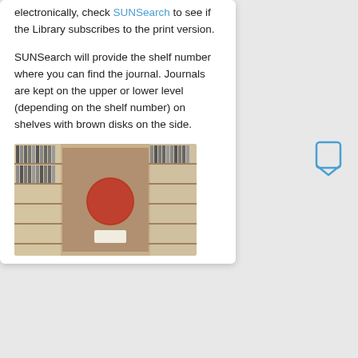electronically, check SUNSearch to see if the Library subscribes to the print version.
SUNSearch will provide the shelf number where you can find the journal. Journals are kept on the upper or lower level (depending on the shelf number) on shelves with brown disks on the side.
[Figure (photo): Photo of library shelves with journal volumes and a brown/red circular disk marker on the side of a shelf unit.]